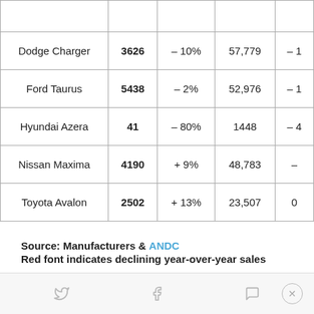| Model | Monthly Sales | MoM Change | YTD Sales | YTD Change |
| --- | --- | --- | --- | --- |
| Dodge Charger | 3626 | – 10% | 57,779 | – 1 |
| Ford Taurus | 5438 | – 2% | 52,976 | – 1 |
| Hyundai Azera | 41 | – 80% | 1448 | – 4 |
| Nissan Maxima | 4190 | + 9% | 48,783 | – |
| Toyota Avalon | 2502 | + 13% | 23,507 | 0 |
Source: Manufacturers & ANDC
Red font indicates declining year-over-year sales